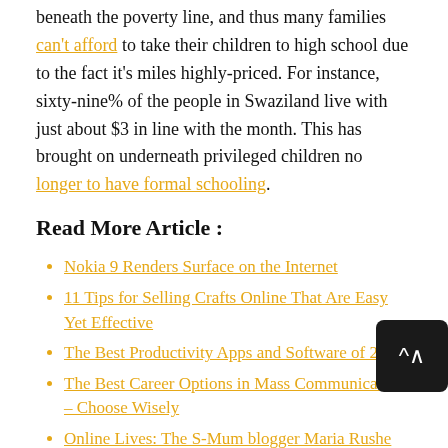beneath the poverty line, and thus many families can't afford to take their children to high school due to the fact it's miles highly-priced. For instance, sixty-nine% of the people in Swaziland live with just about $3 in line with the month. This has brought on underneath privileged children no longer to have formal schooling.
Read More Article :
Nokia 9 Renders Surface on the Internet
11 Tips for Selling Crafts Online That Are Easy Yet Effective
The Best Productivity Apps and Software of 2017
The Best Career Options in Mass Communication – Choose Wisely
Online Lives: The S-Mum blogger Maria Rushe